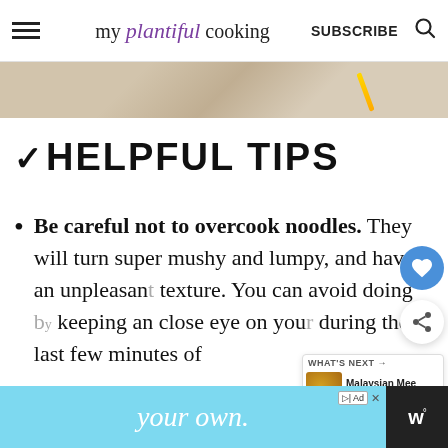my plantiful cooking  SUBSCRIBE
[Figure (photo): Partial photo strip showing a desk/flat-lay background with beige and warm tones, a golden pen/pencil visible]
✓ HELPFUL TIPS
Be careful not to overcook noodles. They will turn super mushy and lumpy, and have an unpleasant texture. You can avoid doing by keeping an close eye on your during the last few minutes of
[Figure (other): Floating heart/save button (blue circle with white heart icon)]
[Figure (other): Floating share button (white circle with share icon)]
[Figure (other): What's Next widget showing Malaysian Mee Siam Goren... with a circular food thumbnail]
[Figure (other): Advertisement banner with light blue background showing 'your own.' text in italic, with ad badge and logo]